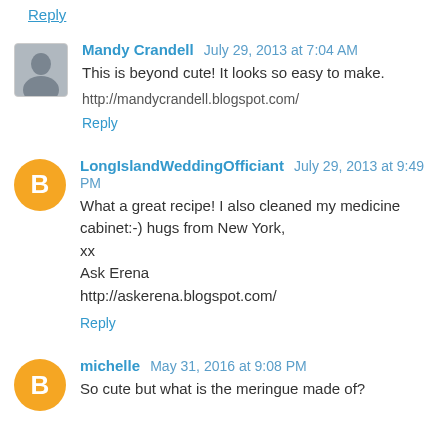Reply
Mandy Crandell July 29, 2013 at 7:04 AM
This is beyond cute! It looks so easy to make.
http://mandycrandell.blogspot.com/
Reply
LongIslandWeddingOfficiant July 29, 2013 at 9:49 PM
What a great recipe! I also cleaned my medicine cabinet:-) hugs from New York,
xx
Ask Erena
http://askerena.blogspot.com/
Reply
michelle May 31, 2016 at 9:08 PM
So cute but what is the meringue made of?